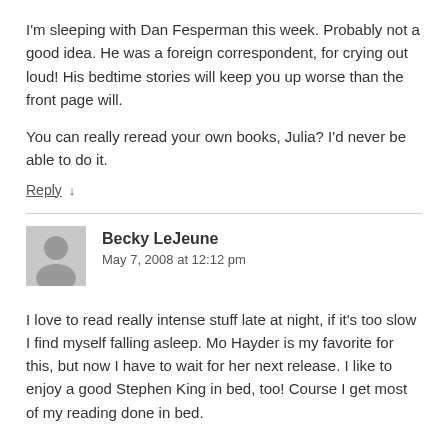I'm sleeping with Dan Fesperman this week. Probably not a good idea. He was a foreign correspondent, for crying out loud! His bedtime stories will keep you up worse than the front page will.

You can really reread your own books, Julia? I'd never be able to do it.
Reply ↓
Becky LeJeune
May 7, 2008 at 12:12 pm
I love to read really intense stuff late at night, if it's too slow I find myself falling asleep. Mo Hayder is my favorite for this, but now I have to wait for her next release. I like to enjoy a good Stephen King in bed, too! Course I get most of my reading done in bed.